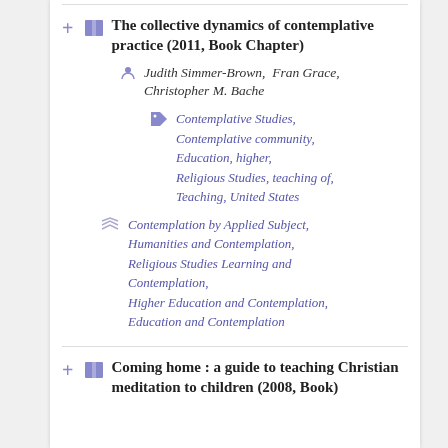The collective dynamics of contemplative practice (2011, Book Chapter)
Judith Simmer-Brown, Fran Grace, Christopher M. Bache
Contemplative Studies, Contemplative community, Education, higher, Religious Studies, teaching of, Teaching, United States
Contemplation by Applied Subject, Humanities and Contemplation, Religious Studies Learning and Contemplation, Higher Education and Contemplation, Education and Contemplation
Coming home : a guide to teaching Christian meditation to children (2008, Book)